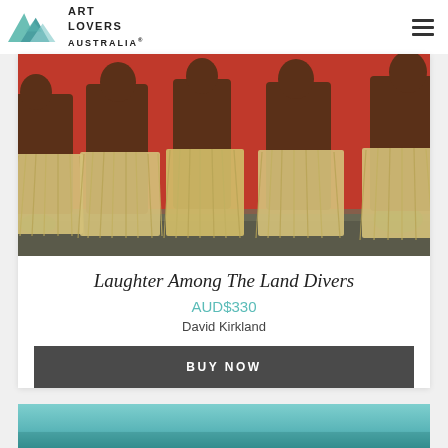ART LOVERS AUSTRALIA
[Figure (photo): Photograph of indigenous women wearing traditional grass skirts, laughing and posing in front of a red wall — artwork titled 'Laughter Among The Land Divers' by David Kirkland]
Laughter Among The Land Divers
AUD$330
David Kirkland
BUY NOW
[Figure (photo): Partial view of a second artwork showing a teal/blue gradient background — next artwork card visible at bottom of page]